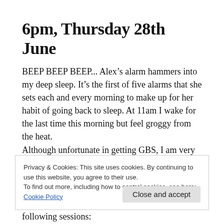6pm, Thursday 28th June
BEEP BEEP BEEP... Alex’s alarm hammers into my deep sleep. It’s the first of five alarms that she sets each and every morning to make up for her habit of going back to sleep. At 11am I wake for the last time this morning but feel groggy from the heat.
Although unfortunate in getting GBS, I am very fortunate to have a loving family and a swimming
Privacy & Cookies: This site uses cookies. By continuing to use this website, you agree to their use.
To find out more, including how to control cookies, see here:
Cookie Policy
Close and accept
following sessions: